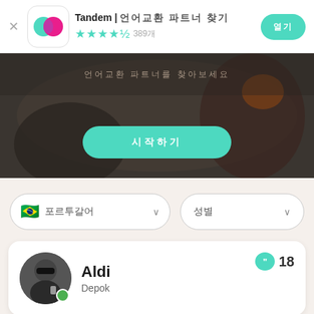Tandem | 언어교환 파트너 찾기  ★★★★½ 389개
[Figure (screenshot): Tandem app icon with overlapping teal and pink speech bubble circles on white rounded square background]
[Figure (photo): Hero banner showing two people outdoors with dark rocky background, overlay text in Asian characters and teal CTA button]
[Figure (screenshot): Filter pills: Brazilian flag with 포르투갈어 dropdown and 성별 dropdown]
[Figure (screenshot): User profile card: Aldi from Depok with avatar photo, online green dot, and message count badge showing 18]